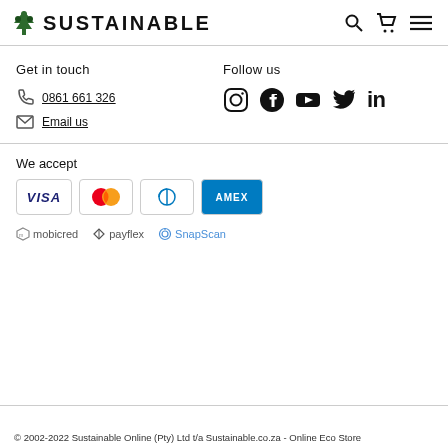SUSTAINABLE
Get in touch
0861 661 326
Email us
Follow us
[Figure (logo): Social media icons: Instagram, Facebook, YouTube, Twitter, LinkedIn]
We accept
[Figure (logo): Payment method logos: VISA, Mastercard, Diners Club, AMEX, mobicred, payflex, SnapScan]
© 2002-2022 Sustainable Online (Pty) Ltd t/a Sustainable.co.za - Online Eco Store